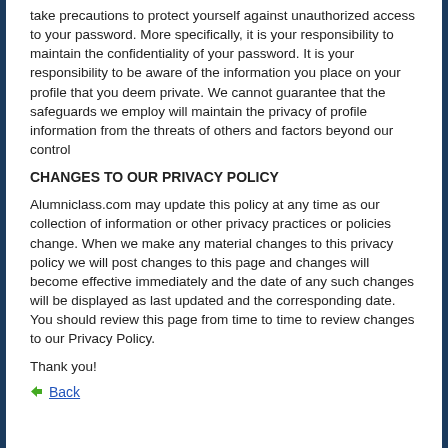take precautions to protect yourself against unauthorized access to your password. More specifically, it is your responsibility to maintain the confidentiality of your password. It is your responsibility to be aware of the information you place on your profile that you deem private. We cannot guarantee that the safeguards we employ will maintain the privacy of profile information from the threats of others and factors beyond our control
CHANGES TO OUR PRIVACY POLICY
Alumniclass.com may update this policy at any time as our collection of information or other privacy practices or policies change. When we make any material changes to this privacy policy we will post changes to this page and changes will become effective immediately and the date of any such changes will be displayed as last updated and the corresponding date. You should review this page from time to time to review changes to our Privacy Policy.
Thank you!
Back